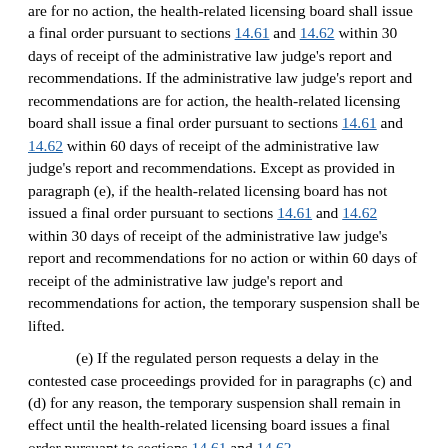are for no action, the health-related licensing board shall issue a final order pursuant to sections 14.61 and 14.62 within 30 days of receipt of the administrative law judge's report and recommendations. If the administrative law judge's report and recommendations are for action, the health-related licensing board shall issue a final order pursuant to sections 14.61 and 14.62 within 60 days of receipt of the administrative law judge's report and recommendations. Except as provided in paragraph (e), if the health-related licensing board has not issued a final order pursuant to sections 14.61 and 14.62 within 30 days of receipt of the administrative law judge's report and recommendations for no action or within 60 days of receipt of the administrative law judge's report and recommendations for action, the temporary suspension shall be lifted.
(e) If the regulated person requests a delay in the contested case proceedings provided for in paragraphs (c) and (d) for any reason, the temporary suspension shall remain in effect until the health-related licensing board issues a final order pursuant to sections 14.61 and 14.62.
(f) This section shall not apply to the Office of Unlicensed Complementary and Alternative Health Practice